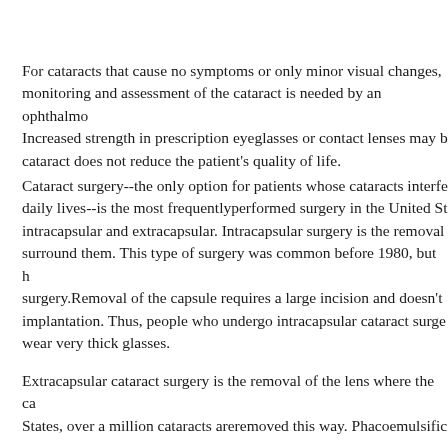For cataracts that cause no symptoms or only minor visual changes, monitoring and assessment of the cataract is needed by an ophthalmologist. Increased strength in prescription eyeglasses or contact lenses may b... cataract does not reduce the patient's quality of life.
Cataract surgery--the only option for patients whose cataracts interfere with daily lives--is the most frequently performed surgery in the United States. intracapsular and extracapsular. Intracapsular surgery is the removal of the lens and the capsules that surround them. This type of surgery was common before 1980, but has largely been replaced by extracapsular surgery. Removal of the capsule requires a large incision and doesn't allow for intraocular lens implantation. Thus, people who undergo intracapsular cataract surgery must wear very thick glasses.
Extracapsular cataract surgery is the removal of the lens where the capsule... States, over a million cataracts are removed this way. Phacoemulsific...